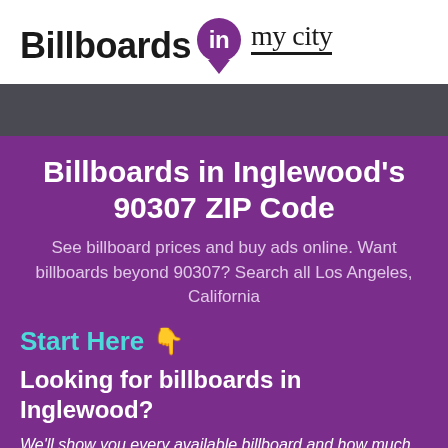[Figure (logo): Billboards in my city logo with purple map pin containing 'in' text and handwritten 'my city' text with underline]
Billboards in Inglewood's 90307 ZIP Code
See billboard prices and buy ads online. Want billboards beyond 90307? Search all Los Angeles, California
Start Here 👇
Looking for billboards in Inglewood?
We'll show you every available billboard and how much billboards cost in Inglewood. Start here to compare and